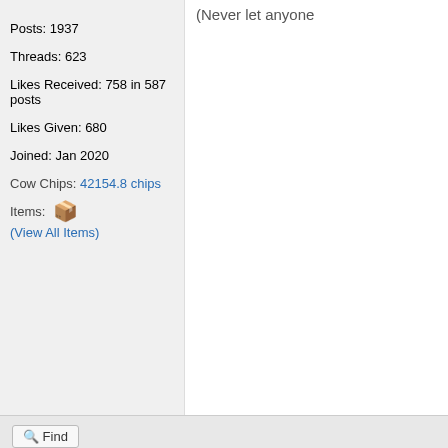Posts: 1937
Threads: 623
Likes Received: 758 in 587 posts
Likes Given: 680
Joined: Jan 2020
Cow Chips: 42154.8 chips
Items: (View All Items)
(Never let anyone
Find
[Figure (photo): Profile photo of user Kurt, a man with dark hair]
Kurt
Administrator
★★★★★★★★
Posts: 1937
Threads: 623
Likes Received: 758 in 587 posts
06-14-2020, 07:23 PM
[Figure (photo): A stone or rocky surface with what appears to be a white cat at the bottom right]